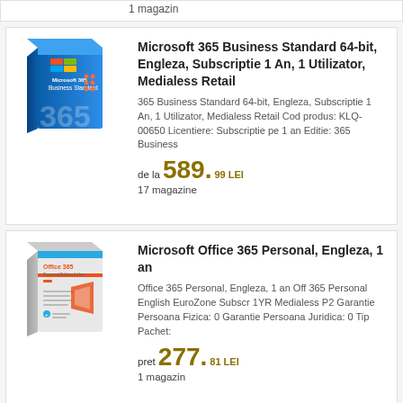1 magazin
Microsoft 365 Business Standard 64-bit, Engleza, Subscriptie 1 An, 1 Utilizator, Medialess Retail
365 Business Standard 64-bit, Engleza, Subscriptie 1 An, 1 Utilizator, Medialess Retail Cod produs: KLQ-00650 Licentiere: Subscriptie pe 1 an Editie: 365 Business
de la 589.99 LEI
17 magazine
Microsoft Office 365 Personal, Engleza, 1 an
Office 365 Personal, Engleza, 1 an Off 365 Personal English EuroZone Subscr 1YR Medialess P2 Garantie Persoana Fizica: 0 Garantie Persoana Juridica: 0 Tip Pachet:
pret 277.81 LEI
1 magazin